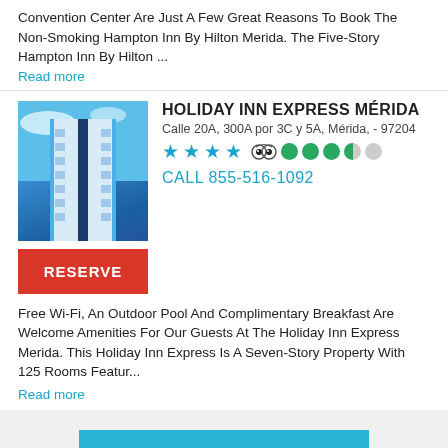Convention Center Are Just A Few Great Reasons To Book The Non-Smoking Hampton Inn By Hilton Merida. The Five-Story Hampton Inn By Hilton ...
Read more
HOLIDAY INN EXPRESS MÉRIDA
Calle 20A, 300A por 3C y 5A, Mérida, - 97204
CALL 855-516-1092
Free Wi-Fi, An Outdoor Pool And Complimentary Breakfast Are Welcome Amenities For Our Guests At The Holiday Inn Express Merida. This Holiday Inn Express Is A Seven-Story Property With 125 Rooms Featur...
Read more
SHOW MORE RESULTS
MAP OF MOTUL HOTELS